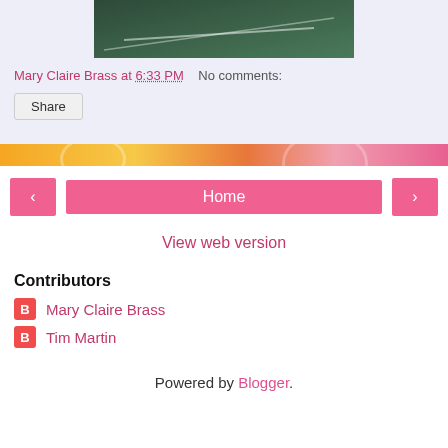[Figure (photo): Partial view of a road/tennis court surface, dark green with white lines, cropped at top]
Mary Claire Brass at 6:33 PM    No comments:
Share
‹    Home    ›
View web version
Contributors
Mary Claire Brass
Tim Martin
Powered by Blogger.